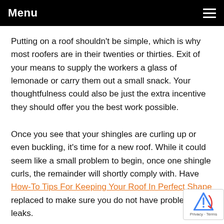Menu
Putting on a roof shouldn't be simple, which is why most roofers are in their twenties or thirties. Exit of your means to supply the workers a glass of lemonade or carry them out a small snack. Your thoughtfulness could also be just the extra incentive they should offer you the best work possible.
Once you see that your shingles are curling up or even buckling, it's time for a new roof. While it could seem like a small problem to begin, once one shingle curls, the remainder will shortly comply with. Have How-To Tips For Keeping Your Roof In Perfect Shape replaced to make sure you do not have problems with leaks.